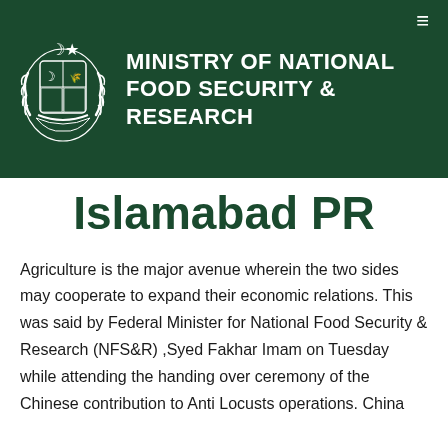[Figure (logo): Ministry of National Food Security & Research header with Pakistan state emblem/coat of arms on dark green background]
Islamabad PR
Agriculture is the major avenue wherein the two sides may cooperate to expand their economic relations. This was said by Federal Minister for National Food Security & Research (NFS&R) ,Syed Fakhar Imam on Tuesday while attending the handing over ceremony of the Chinese contribution to Anti Locusts operations. China